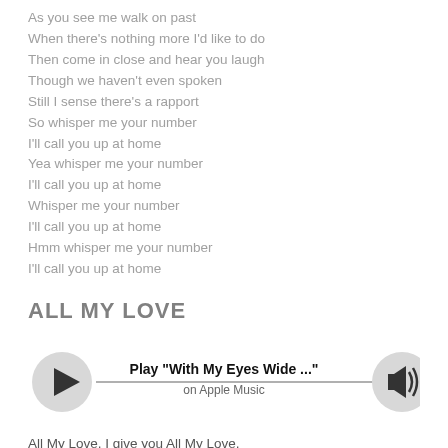As you see me walk on past
When there's nothing more I'd like to do
Then come in close and hear you laugh
Though we haven't even spoken
Still I sense there's a rapport
So whisper me your number
I'll call you up at home
Yea whisper me your number
I'll call you up at home
Whisper me your number
I'll call you up at home
Hmm whisper me your number
I'll call you up at home
ALL MY LOVE
[Figure (other): Music player bar with play button (triangle icon in grey circle), horizontal line, track title 'Play "With My Eyes Wide ..."' and 'on Apple Music', and volume button (speaker icon in grey circle)]
All My Love, I give you All My Love,
The skies may fall, my love
But I will still be true.
All my sighs will disappear at last,
Now that you're here at last,
My heart belongs to you.
Oh, don't you ever let me go,
You thrill me so...